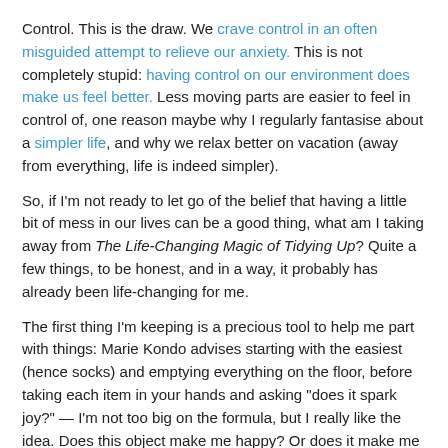Control. This is the draw. We crave control in an often misguided attempt to relieve our anxiety. This is not completely stupid: having control on our environment does make us feel better. Less moving parts are easier to feel in control of, one reason maybe why I regularly fantasise about a simpler life, and why we relax better on vacation (away from everything, life is indeed simpler).
So, if I'm not ready to let go of the belief that having a little bit of mess in our lives can be a good thing, what am I taking away from The Life-Changing Magic of Tidying Up? Quite a few things, to be honest, and in a way, it probably has already been life-changing for me.
The first thing I'm keeping is a precious tool to help me part with things: Marie Kondo advises starting with the easiest (hence socks) and emptying everything on the floor, before taking each item in your hands and asking "does it spark joy?" — I'm not too big on the formula, but I really like the idea. Does this object make me happy? Or does it make me feel guilty, bad, indifferent? There are a few things to unpack here.
I like the idea of surrounding yourself with stuff that makes you happy.
I like the idea of choosing what to keep rather than choosing what to part with.